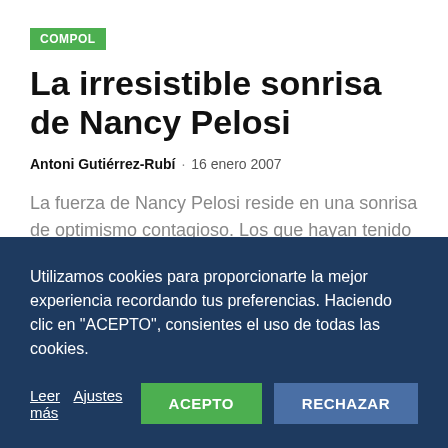COMPOL
La irresistible sonrisa de Nancy Pelosi
Antoni Gutiérrez-Rubí · 16 enero 2007
La fuerza de Nancy Pelosi reside en una sonrisa de optimismo contagioso. Los que hayan tenido la oportunidad de...
Utilizamos cookies para proporcionarte la mejor experiencia recordando tus preferencias. Haciendo clic en "ACEPTO", consientes el uso de todas las cookies.
Leer más Ajustes ACEPTO RECHAZAR